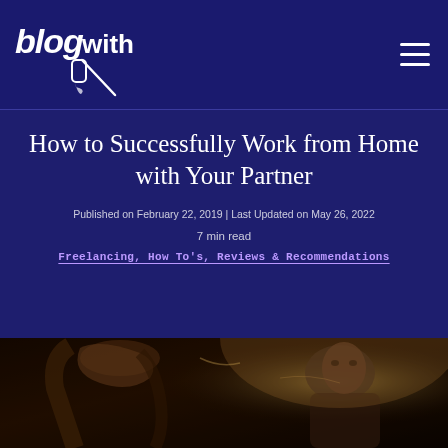Blogwith [logo] | hamburger menu
How to Successfully Work from Home with Your Partner
Published on February 22, 2019 | Last Updated on May 26, 2022
7 min read
Freelancing, How To's, Reviews & Recommendations
[Figure (photo): A couple or two people sitting together looking at a laptop or working, with warm tones and a dark painterly photographic style]